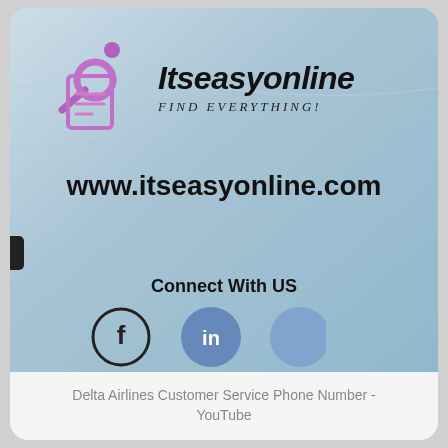[Figure (logo): Itseasyonline logo with magnifying glass and document icon, brand name 'Itseasyonline' in bold italic, tagline 'FIND EVERYTHING!' in italic spaced letters, on a blue gradient background]
www.itseasyonline.com
Connect With US
[Figure (illustration): Social media icons: Facebook (f in circle outline), LinkedIn (in on blue circle), Google (partially visible blue circle)]
Delta Airlines Customer Service Phone Number - YouTube